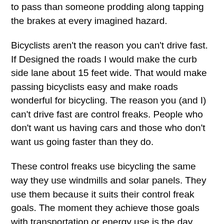to pass than someone prodding along tapping the brakes at every imagined hazard.
Bicyclists aren't the reason you can't drive fast. If Designed the roads I would make the curb side lane about 15 feet wide. That would make passing bicyclists easy and make roads wonderful for bicycling. The reason you (and I) can't drive fast are control freaks. People who don't want us having cars and those who don't want us going faster than they do.
These control freaks use bicycling the same way they use windmills and solar panels. They use them because it suits their control freak goals. The moment they achieve those goals with transportation or energy use is the day they will turn on what they previously promoted.